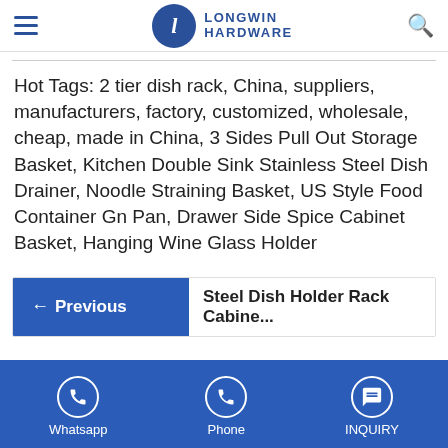Longwin Hardware
Hot Tags: 2 tier dish rack, China, suppliers, manufacturers, factory, customized, wholesale, cheap, made in China, 3 Sides Pull Out Storage Basket, Kitchen Double Sink Stainless Steel Dish Drainer, Noodle Straining Basket, US Style Food Container Gn Pan, Drawer Side Spice Cabinet Basket, Hanging Wine Glass Holder
← Previous   Steel Dish Holder Rack Cabine...
Whatsapp   Phone   INQUIRY